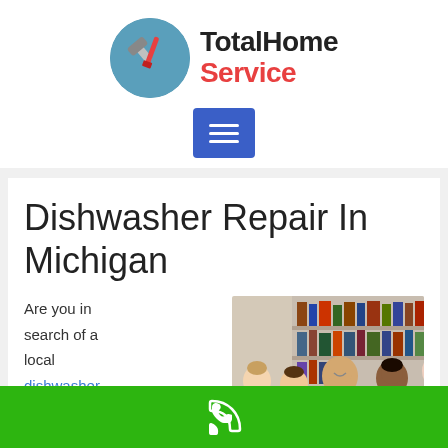[Figure (logo): TotalHome Service logo with circular icon showing hammer and screwdriver tools on teal background, with company name to the right in black (TotalHome) and red (Service)]
[Figure (other): Blue menu/hamburger button with three white horizontal lines]
Dishwasher Repair In Michigan
Are you in search of a local dishwasher
[Figure (photo): Group of business people in an office meeting room, smiling and shaking hands, with bookshelves in background]
[Figure (other): Green footer bar with white phone/call icon in center]